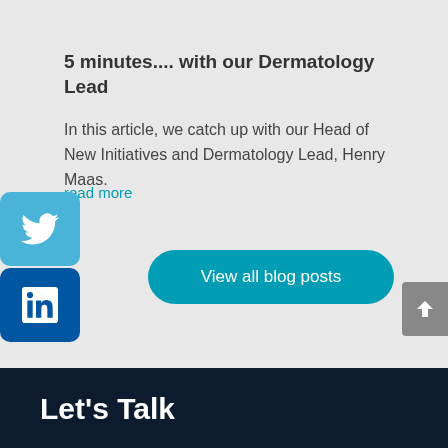5 minutes.... with our Dermatology Lead
In this article, we catch up with our Head of New Initiatives and Dermatology Lead, Henry Maas.
read more
[Figure (other): Twitter social share button (light blue rounded square with Twitter bird icon)]
[Figure (other): LinkedIn social share button (dark blue rounded square with 'in' LinkedIn icon)]
[Figure (other): Teal rounded pill button labeled 'View all blog posts']
[Figure (other): Grey scroll-to-top button with upward chevron arrow, positioned at right edge]
Let's Talk